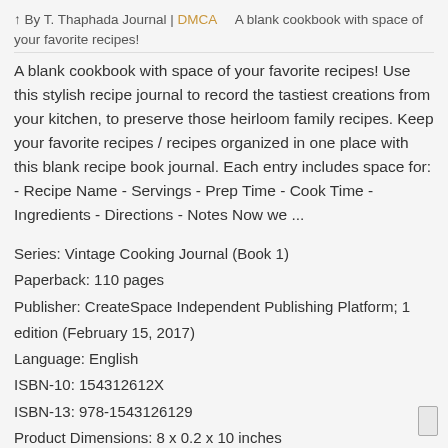↑ By T. Thaphada Journal | DMCA    A blank cookbook with space of your favorite recipes!
A blank cookbook with space of your favorite recipes! Use this stylish recipe journal to record the tastiest creations from your kitchen, to preserve those heirloom family recipes. Keep your favorite recipes / recipes organized in one place with this blank recipe book journal. Each entry includes space for: - Recipe Name - Servings - Prep Time - Cook Time - Ingredients - Directions - Notes Now we ...
Series: Vintage Cooking Journal (Book 1)
Paperback: 110 pages
Publisher: CreateSpace Independent Publishing Platform; 1 edition (February 15, 2017)
Language: English
ISBN-10: 154312612X
ISBN-13: 978-1543126129
Product Dimensions: 8 x 0.2 x 10 inches
Amazon Rank: 4136139
Format: PDF Text TXT ebook